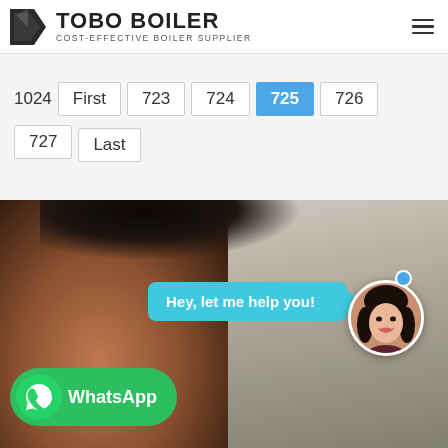TOBO BOILER — COST-EFFECTIVE BOILER SUPPLIER
1024  First  723  724  725  726  727  Last
[Figure (photo): Background photo of a woman's face partially visible, with a chat bubble saying 'Hey, let me help you!' and an avatar of a female customer support agent, plus a WhatsApp button at the bottom.]